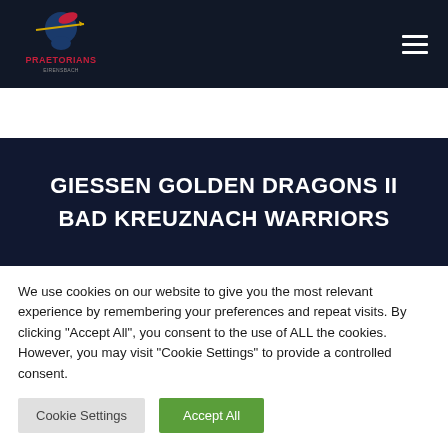Praetorians — navigation header with logo and hamburger menu
GIESSEN GOLDEN DRAGONS II
BAD KREUZNACH WARRIORS
We use cookies on our website to give you the most relevant experience by remembering your preferences and repeat visits. By clicking "Accept All", you consent to the use of ALL the cookies. However, you may visit "Cookie Settings" to provide a controlled consent.